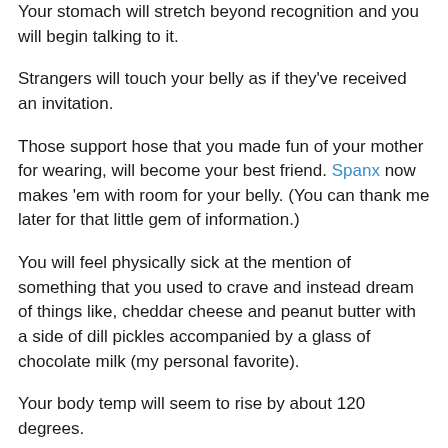Your stomach will stretch beyond recognition and you will begin talking to it.
Strangers will touch your belly as if they've received an invitation.
Those support hose that you made fun of your mother for wearing, will become your best friend. Spanx now makes 'em with room for your belly. (You can thank me later for that little gem of information.)
You will feel physically sick at the mention of something that you used to crave and instead dream of things like, cheddar cheese and peanut butter with a side of dill pickles accompanied by a glass of chocolate milk (my personal favorite).
Your body temp will seem to rise by about 120 degrees.